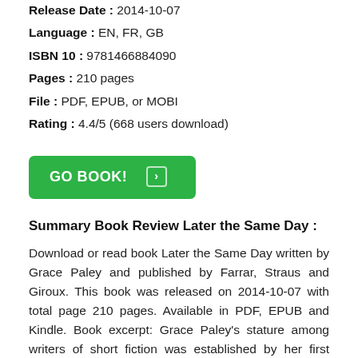Release Date : 2014-10-07
Language : EN, FR, GB
ISBN 10 : 9781466884090
Pages : 210 pages
File : PDF, EPUB, or MOBI
Rating : 4.4/5 (668 users download)
[Figure (other): Green button with text GO BOOK! and an arrow icon]
Summary Book Review Later the Same Day :
Download or read book Later the Same Day written by Grace Paley and published by Farrar, Straus and Giroux. This book was released on 2014-10-07 with total page 210 pages. Available in PDF, EPUB and Kindle. Book excerpt: Grace Paley's stature among writers of short fiction was established by her first collection, The Little Disturbances of Man (1959), and